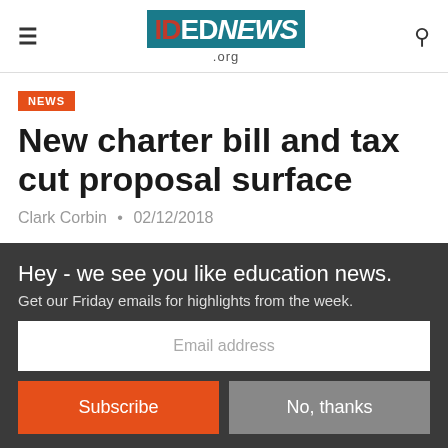IDEdNEWS.org
NEWS
New charter bill and tax cut proposal surface
Clark Corbin • 02/12/2018
Hey - we see you like education news. Get our Friday emails for highlights from the week.
Email address
Subscribe
No, thanks